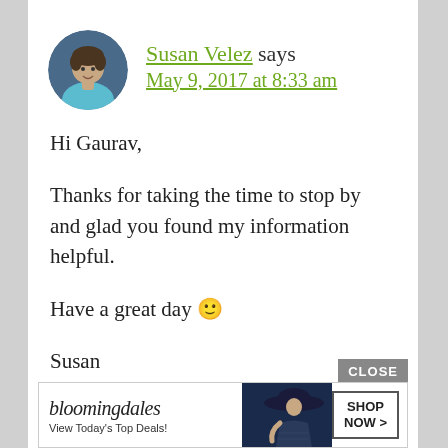[Figure (photo): Circular avatar photo of Susan Velez, a woman with short curly hair wearing a light blue shirt]
Susan Velez says
May 9, 2017 at 8:33 am
Hi Gaurav,

Thanks for taking the time to stop by and glad you found my information helpful.

Have a great day 🙂

Susan
[Figure (screenshot): Bloomingdale's advertisement banner: 'bloomingdales — View Today's Top Deals!' with SHOP NOW > button and a woman wearing a wide-brim hat]